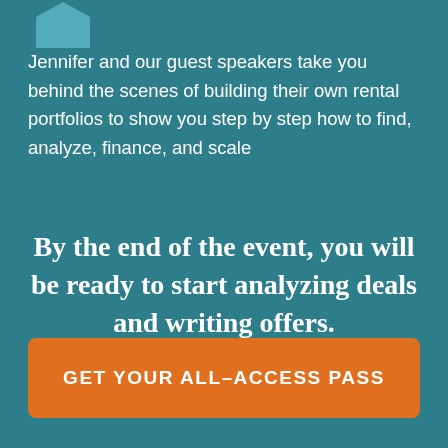[Figure (illustration): Partial teal hexagon icon at top left corner]
Jennifer and our guest speakers take you behind the scenes of building their own rental portfolios to show you step by step how to find, analyze, finance, and scale
By the end of the event, you will be ready to start analyzing deals and writing offers.
GET YOUR ALL–ACCESS PASS